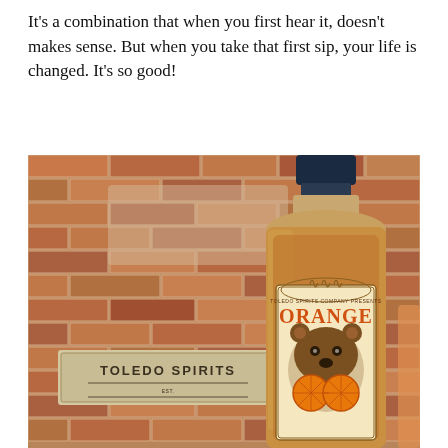It's a combination that when you first hear it, doesn't makes sense. But when you take that first sip, your life is changed. It's so good!
[Figure (photo): Photo of a Toledo Spirits Orange whiskey bottle in front of a brick wall with a Toledo Spirits sign. The bottle has an ornate label featuring a bear holding two orange slices, with text reading 'Toledo Spirits Company Presents Orange'.]